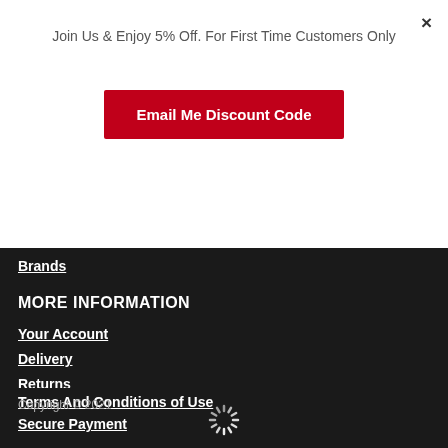Join Us & Enjoy 5% Off. For First Time Customers Only
Email Me Discount Code
×
Brands
MORE INFORMATION
Your Account
Delivery
Returns
Terms And Conditions of Use
Secure Payment
Copyright © 2021